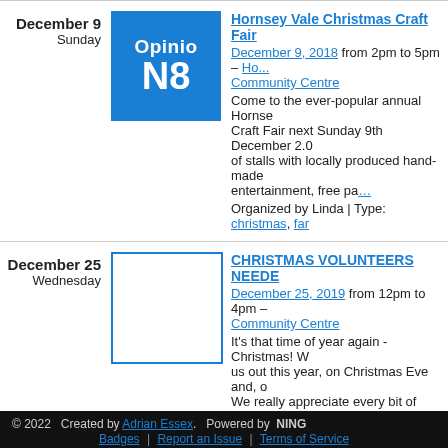December 9 Sunday | Hornsey Vale Christmas Craft Fair | December 9, 2018 from 2pm to 5pm – Community Centre | Come to the ever-popular annual Hornse... Craft Fair next Sunday 9th December 2.0... of stalls with locally produced hand-made... entertainment, free pa… | Organized by Linda | Type: christmas, far...
December 25 Wednesday | CHRISTMAS VOLUNTEERS NEEDE... | December 25, 2019 from 12pm to 4pm – Community Centre | It's that time of year again - Christmas! W... us out this year, on Christmas Eve and, o... We really appreciate every bit of support... free lun… | Organized by Union Church & Communit... | community, christmas, lunch, party
< Previous
© 2022   Created by Adrian Essex.   Powered by  NING
Badges  |  Report an Issue  |  Terms of Service